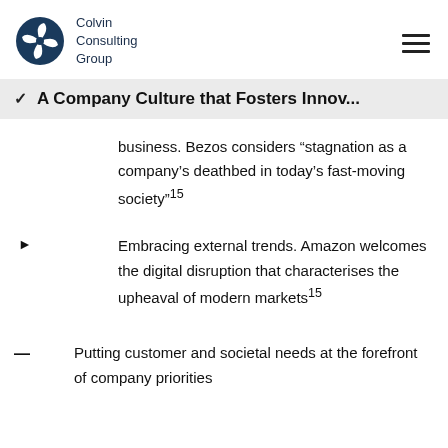Colvin Consulting Group
A Company Culture that Fosters Innov...
business. Bezos considers “stagnation as a company’s deathbed in today’s fast-moving society”15
Embracing external trends. Amazon welcomes the digital disruption that characterises the upheaval of modern markets15
Putting customer and societal needs at the forefront of company priorities